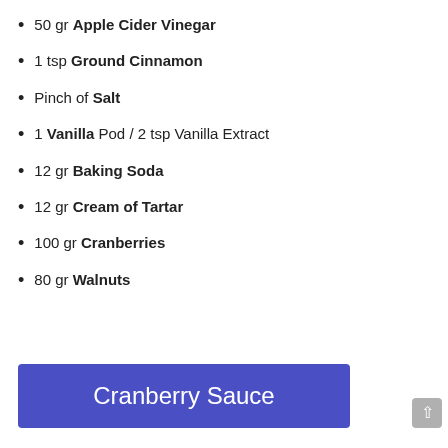50 gr Apple Cider Vinegar
1 tsp Ground Cinnamon
Pinch of Salt
1 Vanilla Pod / 2 tsp Vanilla Extract
12 gr Baking Soda
12 gr Cream of Tartar
100 gr Cranberries
80 gr Walnuts
Cranberry Sauce